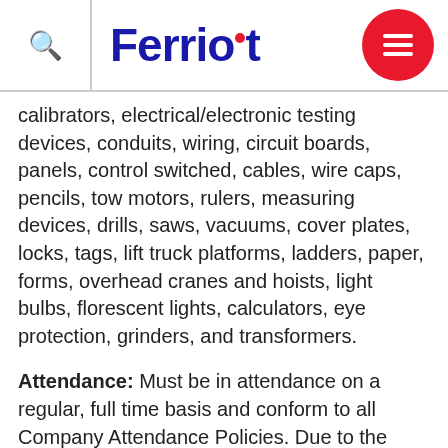Ferriot
calibrators, electrical/electronic testing devices, conduits, wiring, circuit boards, panels, control switched, cables, wire caps, pencils, tow motors, rulers, measuring devices, drills, saws, vacuums, cover plates, locks, tags, lift truck platforms, ladders, paper, forms, overhead cranes and hoists, light bulbs, florescent lights, calculators, eye protection, grinders, and transformers.
Attendance: Must be in attendance on a regular, full time basis and conform to all Company Attendance Policies. Due to the limited numbers in this classification, attendance is of the utmost importance. Must be willing and available to work other shifts and overtime (including weekends) as necessary/required.